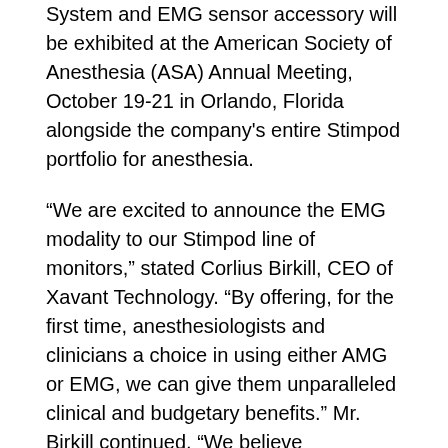System and EMG sensor accessory will be exhibited at the American Society of Anesthesia (ASA) Annual Meeting, October 19-21 in Orlando, Florida alongside the company's entire Stimpod portfolio for anesthesia.
“We are excited to announce the EMG modality to our Stimpod line of monitors,” stated Corlius Birkill, CEO of Xavant Technology. “By offering, for the first time, anesthesiologists and clinicians a choice in using either AMG or EMG, we can give them unparalleled clinical and budgetary benefits.” Mr. Birkill continued, “We believe quantitative or objective monitoring of patients who are undergoing neuromuscular block for surgery should be the standard of care. Our goal is to provide physicians with the most optimal and efficient tools to achieve that standard.”
The latest update to the AMG-based Stimpod NMS450X monitor series will enable the use for the first time ever, a